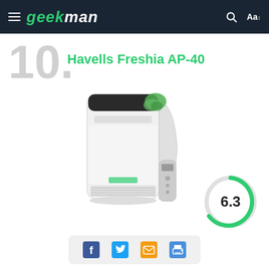geekman
10. Havells Freshia AP-40
[Figure (photo): Havells Freshia AP-40 air purifier product photo with remote control, white unit with green accent, on white background]
[Figure (infographic): Circular score gauge showing 6.3 rating in green arc]
[Figure (infographic): Social sharing icons: Facebook, Twitter, Email, Print]